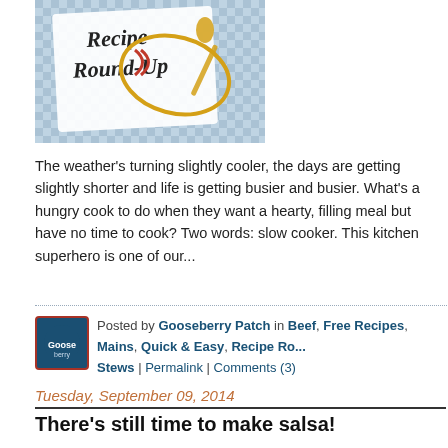[Figure (illustration): Recipe Round-Up banner illustration with text 'Recipe Round-Up' on a recipe card with a spoon and red ribbon, blue gingham background]
The weather's turning slightly cooler, the days are getting slightly shorter and life is getting busier and busier. What's a hungry cook to do when they want a hearty, filling meal but have no time to cook? Two words: slow cooker. This kitchen superhero is one of our...
Posted by Gooseberry Patch in Beef, Free Recipes, Mains, Quick & Easy, Recipe Ro... Stews | Permalink | Comments (3)
Tuesday, September 09, 2014
There's still time to make salsa!
[Figure (illustration): Brown burlap-textured circular badge/seal with scalloped edge and white text reading 'Special']